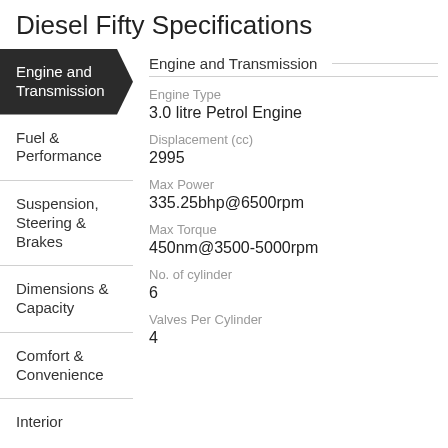Diesel Fifty Specifications
Engine and Transmission
Fuel & Performance
Suspension, Steering & Brakes
Dimensions & Capacity
Comfort & Convenience
Interior
Engine and Transmission
| Specification | Value |
| --- | --- |
| Engine Type | 3.0 litre Petrol Engine |
| Displacement (cc) | 2995 |
| Max Power | 335.25bhp@6500rpm |
| Max Torque | 450nm@3500-5000rpm |
| No. of cylinder | 6 |
| Valves Per Cylinder | 4 |